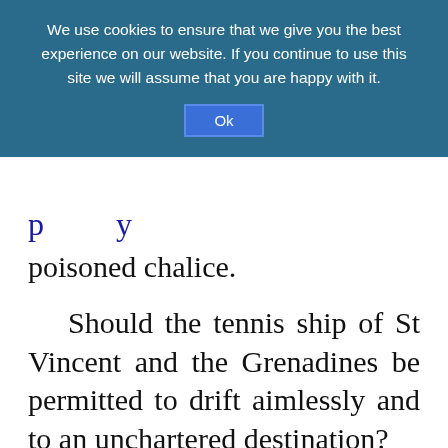We use cookies to ensure that we give you the best experience on our website. If you continue to use this site we will assume that you are happy with it.
Ok
poisoned chalice.
Should the tennis ship of St Vincent and the Grenadines be permitted to drift aimlessly and to an unchartered destination?
Surely, this was not the intention of those who worked from the trenches to place tennis to a point of national respect and acceptance. This was not objective for the erection of the National Tennis Centre at Villa, which